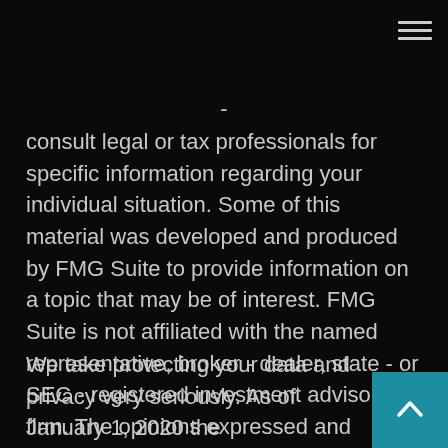-
consult legal or tax professionals for specific information regarding your individual situation. Some of this material was developed and produced by FMG Suite to provide information on a topic that may be of interest. FMG Suite is not affiliated with the named representative, broker - dealer, state - or SEC - registered investment advisory firm. The opinions expressed and material provided are for general information, and should not be considered a solicitation for the purchase or sale of any security.
We take protecting your data and privacy very seriously. As of January 1, 2020 the